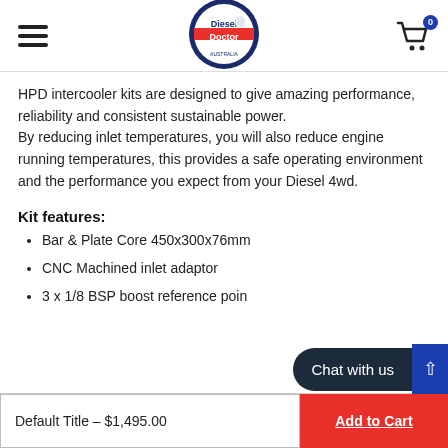[Figure (logo): The Diesel Doctor Australia logo — circular badge with dark blue border, featuring a stylized mechanic/doctor figure and red text 'Diesel Doctor']
HPD intercooler kits are designed to give amazing performance, reliability and consistent sustainable power.
By reducing inlet temperatures, you will also reduce engine running temperatures, this provides a safe operating environment and the performance you expect from your Diesel 4wd.
Kit features:
Bar & Plate Core 450x300x76mm
CNC Machined inlet adaptor
3 x 1/8 BSP boost reference poi…
Default Title – $1,495.00